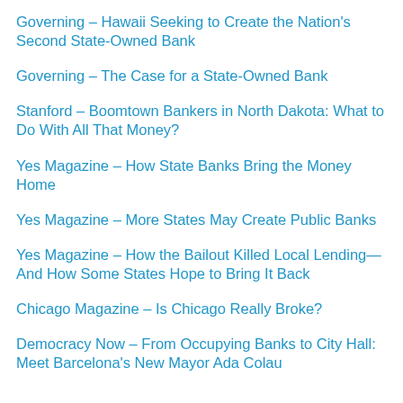Governing – Hawaii Seeking to Create the Nation's Second State-Owned Bank
Governing – The Case for a State-Owned Bank
Stanford – Boomtown Bankers in North Dakota: What to Do With All That Money?
Yes Magazine – How State Banks Bring the Money Home
Yes Magazine – More States May Create Public Banks
Yes Magazine – How the Bailout Killed Local Lending—And How Some States Hope to Bring It Back
Chicago Magazine – Is Chicago Really Broke?
Democracy Now – From Occupying Banks to City Hall: Meet Barcelona's New Mayor Ada Colau